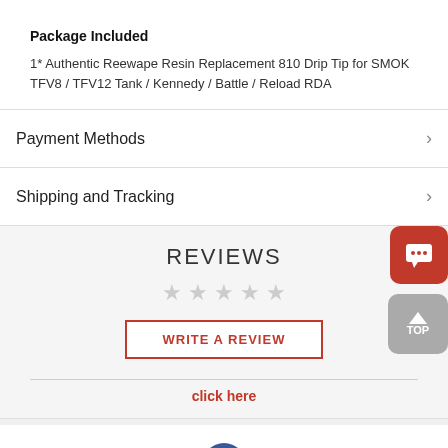Package Included
1* Authentic Reewape Resin Replacement 810 Drip Tip for SMOK TFV8 / TFV12 Tank / Kennedy / Battle / Reload RDA
Payment Methods
Shipping and Tracking
REVIEWS
WRITE A REVIEW
click here